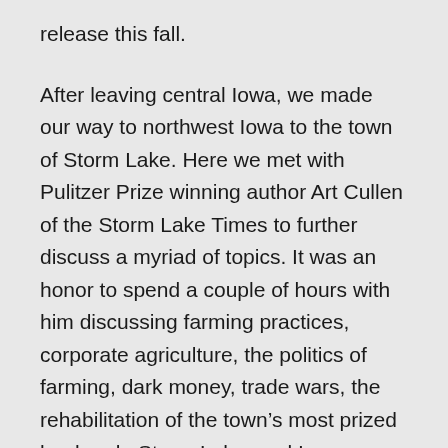release this fall.
After leaving central Iowa, we made our way to northwest Iowa to the town of Storm Lake. Here we met with Pulitzer Prize winning author Art Cullen of the Storm Lake Times to further discuss a myriad of topics. It was an honor to spend a couple of hours with him discussing farming practices, corporate agriculture, the politics of farming, dark money, trade wars, the rehabilitation of the town’s most prized landmark, Storm Lake, and Iowa culture in general. The interview was so powerful and informative that we walked away feeling a little more like Iowans than we ever imagined we would.